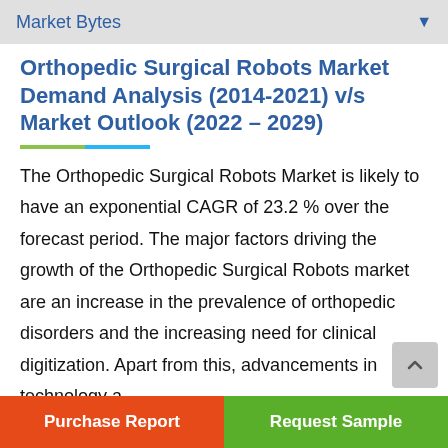Market Bytes
Orthopedic Surgical Robots Market Demand Analysis (2014-2021) v/s Market Outlook (2022 – 2029)
The Orthopedic Surgical Robots Market is likely to have an exponential CAGR of 23.2 % over the forecast period. The major factors driving the growth of the Orthopedic Surgical Robots market are an increase in the prevalence of orthopedic disorders and the increasing need for clinical digitization. Apart from this, advancements in technology a
Purchase Report   Request Sample